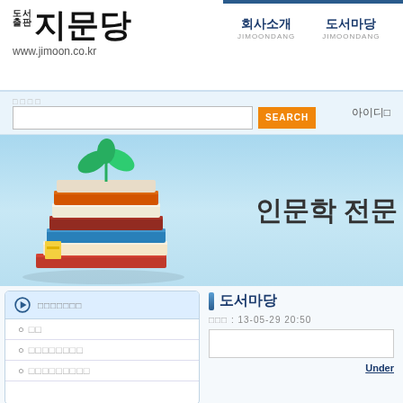[Figure (logo): Jimoon Publishing logo with Korean text 도서출판 지문당 and URL www.jimoon.co.kr]
회사소개 JIMOONDANG   도서마당 JIMOONDANG
□□□□ [search input] SEARCH   아이디□
[Figure (illustration): Banner with stack of books topped with a green plant sprout on a light blue background, with Korean text 인문학 전문]
도서마당
□□□ : 13-05-29 20:50
□□□□□□ (header item)
○ □□
○ □□□□□□□□
○ □□□□□□□□□
Under